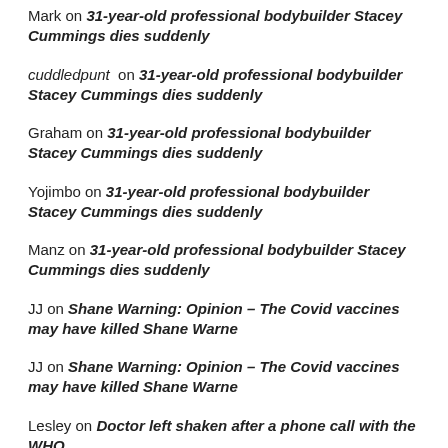Mark on 31-year-old professional bodybuilder Stacey Cummings dies suddenly
cuddledpunt on 31-year-old professional bodybuilder Stacey Cummings dies suddenly
Graham on 31-year-old professional bodybuilder Stacey Cummings dies suddenly
Yojimbo on 31-year-old professional bodybuilder Stacey Cummings dies suddenly
Manz on 31-year-old professional bodybuilder Stacey Cummings dies suddenly
JJ on Shane Warning: Opinion – The Covid vaccines may have killed Shane Warne
JJ on Shane Warning: Opinion – The Covid vaccines may have killed Shane Warne
Lesley on Doctor left shaken after a phone call with the WHO
E on 31-year-old professional bodybuilder Stacey Cummings dies